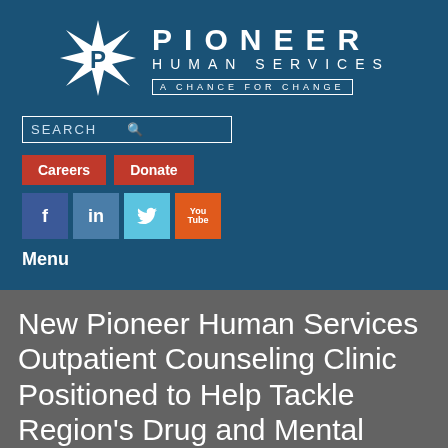[Figure (logo): Pioneer Human Services logo with compass star, text PIONEER HUMAN SERVICES, A CHANCE FOR CHANGE tagline on dark blue background]
SEARCH
Careers   Donate
f   in   Twitter   YouTube
Menu
New Pioneer Human Services Outpatient Counseling Clinic Positioned to Help Tackle Region's Drug and Mental Health Crisis